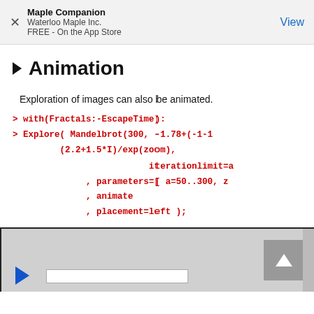Maple Companion
Waterloo Maple Inc.
FREE - On the App Store
View
Animation
Exploration of images can also be animated.
> with(Fractals:-EscapeTime):
> Explore( Mandelbrot(300, -1.78+(-1-1
         (2.2+1.5*I)/exp(zoom),
                          iterationlimit=a
              , parameters=[ a=50..300, z
              , animate
              , placement=left );
[Figure (screenshot): Bottom panel showing a Maple animation interface with a dark border, gray background, scroll up button with arrow, play button (blue triangle), and a slider track.]